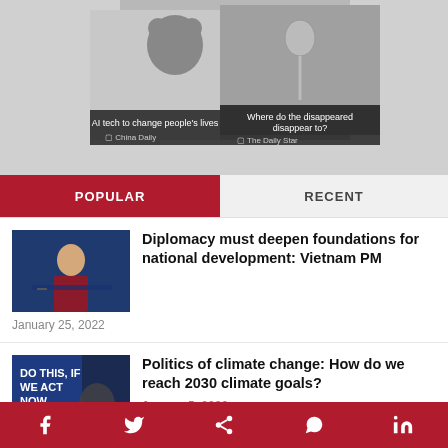[Figure (screenshot): Top section showing a rotating news display widget with captions 'AI tech to change people's lives' (China Daily) and 'Where do the disappeared disappear to?' (The Daily Star), shown as a 3D cube/box with a bear/mascot image and a person illustration.]
POPULAR
RECENT
[Figure (photo): Photo of a man (Vietnam PM) speaking at a podium with microphones, blue background.]
Diplomacy must deepen foundations for national development: Vietnam PM
January 25, 2022
[Figure (photo): Photo of protest crowd with sign reading 'DO THIS, IF WE ACT NOW.' related to climate action.]
Politics of climate change: How do we reach 2030 climate goals?
January 5, 2022
Social sharing bar with Facebook, Twitter, Share, WhatsApp, LinkedIn icons